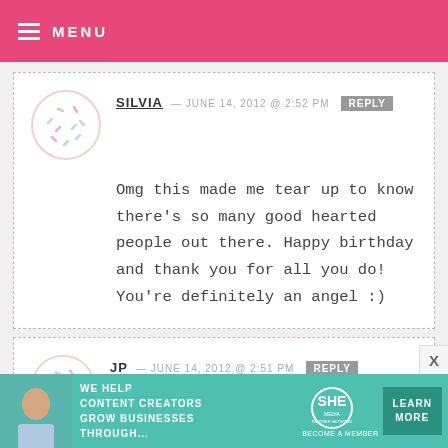MENU
SILVIA — JUNE 14, 2012 @ 2:52 PM  REPLY
Omg this made me tear up to know there's so many good hearted people out there. Happy birthday and thank you for all you do! You're definitely an angel :)
JP — JUNE 14, 2012 @ 2:51 PM  REPLY
[Figure (infographic): SHE Media partner network advertisement banner: WE HELP CONTENT CREATORS GROW BUSINESSES THROUGH... LEARN MORE]